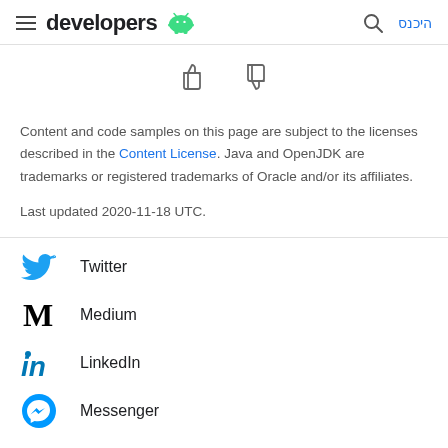developers · היכנס
[Figure (illustration): Thumbs up and thumbs down rating icons]
Content and code samples on this page are subject to the licenses described in the Content License. Java and OpenJDK are trademarks or registered trademarks of Oracle and/or its affiliates.
Last updated 2020-11-18 UTC.
Twitter
Medium
LinkedIn
Messenger